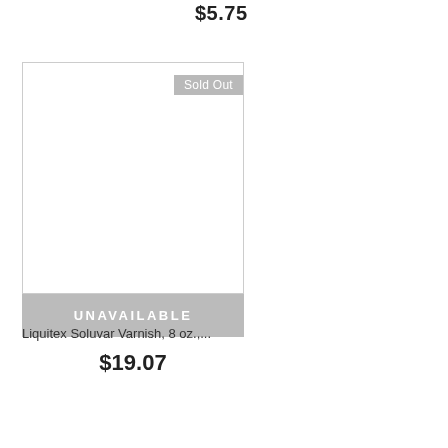$5.75
$17.99
[Figure (photo): Product image placeholder with Sold Out badge and Unavailable button]
Liquitex Soluvar Varnish, 8 oz.,...
$19.07